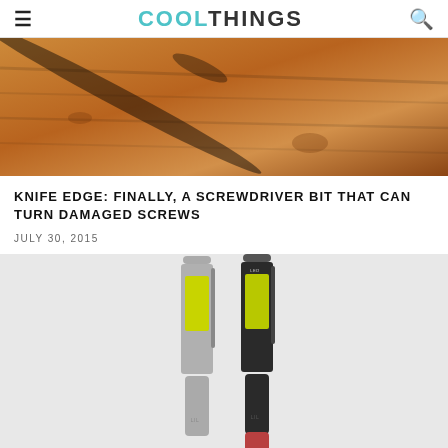COOLTHINGS
[Figure (photo): Close-up photo of a screwdriver bit on a wooden surface with warm orange-brown wood grain visible]
KNIFE EDGE: FINALLY, A SCREWDRIVER BIT THAT CAN TURN DAMAGED SCREWS
JULY 30, 2015
[Figure (photo): Two pen-shaped LED work lights — one silver and one black — standing upright with yellow-green COB LED strips visible, against a light gray background]